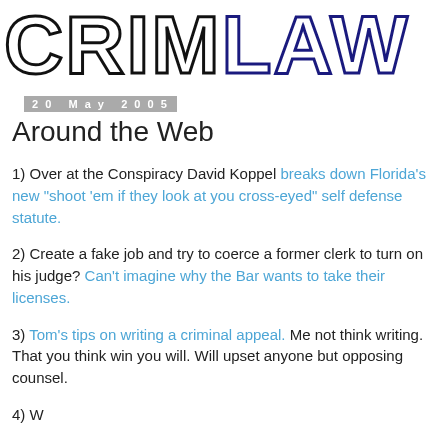[Figure (logo): CRIMLAW logo with large outlined block letters, CRIM in black outline and LAW in dark blue/navy outline on white background]
20 May 2005
Around the Web
1) Over at the Conspiracy David Koppel breaks down Florida's new "shoot 'em if they look at you cross-eyed" self defense statute.
2) Create a fake job and try to coerce a former clerk to turn on his judge? Can't imagine why the Bar wants to take their licenses.
3) Tom's tips on writing a criminal appeal. Me not think writing. That you think win you will. Will upset anyone but opposing counsel.
4) What to say next...